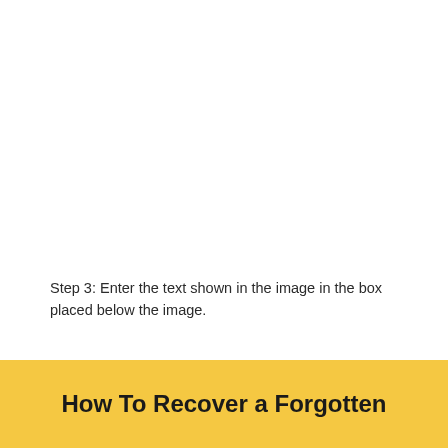Step 3: Enter the text shown in the image in the box placed below the image.
Step 4: Click on the "Log In" button.
How To Recover a Forgotten